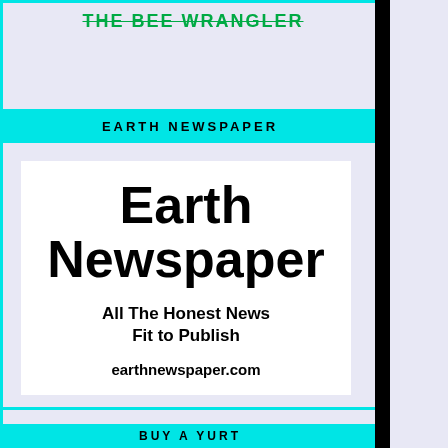THE BEE WRANGLER
EARTH NEWSPAPER
[Figure (other): Earth Newspaper advertisement card with title 'Earth Newspaper', subtitle 'All The Honest News Fit to Publish', and URL 'earthnewspaper.com']
BUY A YURT
[Figure (photo): Partial cloud/sky photo on right side]
[Figure (illustration): Generic user avatar placeholder icon]
Scroll to Top